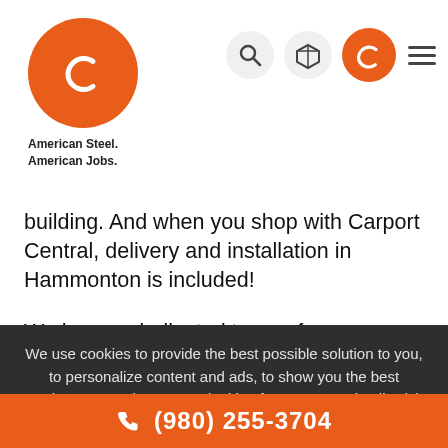[Figure (logo): Carport Central orange circle logo with stylized C, tagline: American Steel. American Jobs.]
[Figure (infographic): Navigation icons: search magnifier, 3D box, orange circle with C logo, hamburger menu]
building. And when you shop with Carport Central, delivery and installation in Hammonton is included!
We have a dedicated team of experienced building specialists available to walk you through every step. Carport Central is the top volume online carport dealer in America, but we didn't reach this level of business by
We use cookies to provide the best possible solution to you, to personalize content and ads, to show you the best products or services you're looking for. For more details visit Privacy Policy.
OK, THANKS
Carport Central offers a vast range of metal carports and
(980) 255-3704